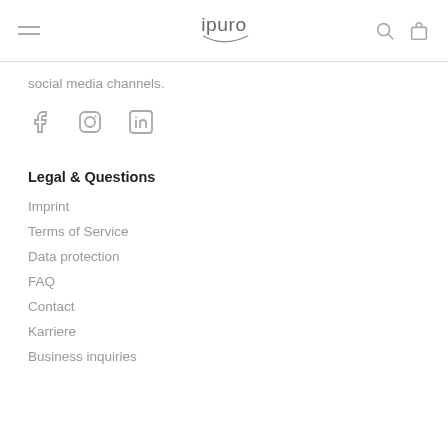ipuro (logo with navigation)
social media channels.
[Figure (other): Social media icons: Facebook, Instagram, LinkedIn]
Legal & Questions
Imprint
Terms of Service
Data protection
FAQ
Contact
Karriere
Business inquiries